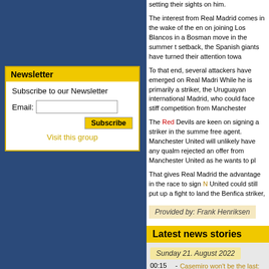Newsletter
Subscribe to our Newsletter
Email:
Subscribe
Visit this group
setting their sights on him. The interest from Real Madrid comes in the wake of the en on joining Los Blancos in a Bosman move in the summer t setback, the Spanish giants have turned their attention towa
To that end, several attackers have emerged on Real Madri While he is primarily a striker, the Uruguayan international Madrid, who could face stiff competition from Manchester
The Red Devils are keen on signing a striker in the summe free agent. Manchester United will unlikely have any qualm rejected an offer from Manchester United as he wants to pl
That gives Real Madrid the advantage in the race to sign N United could still put up a fight to land the Benfica striker,
Provided by: Frank Henriksen
Latest news stories
Sunday 21. August 2022
00:15 - Casemiro won't be the last: The reasons why Re Madrid are opening the door
00:13 - Casemiro moves to Manchester United from Re Madrid
Friday 19. August 2022
10:25 - Arkadiusz Milik on Real Madrid radar
10:22 - In England they say that the agreement with Casemiro and Manchester United is only pendin medical recognition
Thursday 18. August 2022
11:55 - Real Madrid predicted lineup vs Calta Vir...